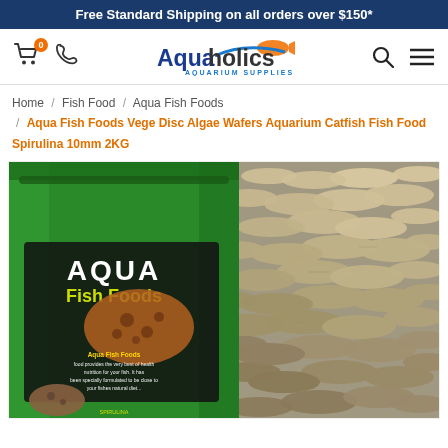Free Standard Shipping on all orders over $150*
[Figure (logo): Aquaholics Aquarium Supplies logo with shopping cart, phone, search, and menu icons]
Home / Fish Food / Aqua Fish Foods / Aqua Fish Foods Vege Disc Algae Wafers Aquarium Catfish Fish Food Spirulina 10mm 2KG
[Figure (photo): Product photo showing a green foil resealable bag of Aqua Fish Foods Vege Disc Algae Wafers with Spirulina, with a pile of round flat wafer discs visible on the right side of the image.]